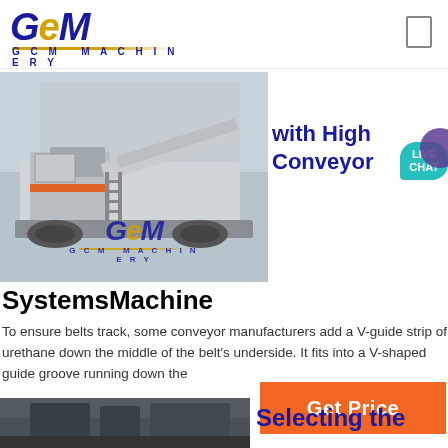[Figure (logo): GCM Machinery logo with stylized G-e-M letters in dark blue and gold, with 'G C M MACHINERY' text below and gold underline arc]
[Figure (photo): Photo of a large mobile crushing/conveyor machine by GCM Machinery, parked in front of a building. GCM Machinery watermark logo on the image.]
with High... Conveyor
SystemsMachine
To ensure belts track, some conveyor manufacturers add a V-guide strip of urethane down the middle of the belt's underside. It fits into a V-shaped guide groove running down the
[Figure (other): Orange 'Get Price' call-to-action button]
[Figure (photo): Bottom strip photo showing industrial machinery interior]
Selecting the